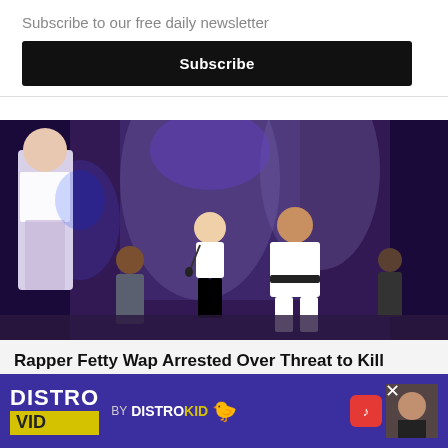Subscribe to our free daily newsletter
Subscribe
[Figure (photo): Concert stage photo showing performers in white outfits on a purple-lit stage, with background dancers and musicians]
Rapper Fetty Wap Arrested Over Threat to Kill Someone Over FaceTime
Ashley
Photo ... Wap
[Figure (other): DistroVid by DistroKid advertisement banner with music app icon and thumbnail]